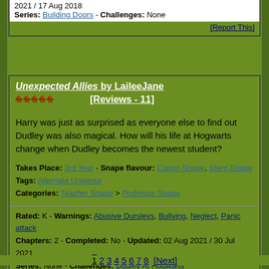2021 / 17 Aug 2018
Series: Building Doors - Challenges: None
[Report This]
Unexpected Allies by LaileeJane [Reviews - 11]
Harry was just as surprised as everyone else to find out Dudley was also magical. How will his life at Hogwarts change when Dudley becomes the newest student?
Takes Place: 3rd Year - Snape flavour: Canon Snape, Stern Snape
Tags: Alternate Universe
Categories: Teacher Snape > Professor Snape
Rated: K - Warnings: Abusive Dursleys, Bullying, Neglect, Panic attack
Chapters: 2 - Completed: No - Updated: 02 Aug 2021 / 30 Jul 2021
Series: None - Challenges: Dudley At Hogwarts
[Report This]
1 2 3 4 5 6 7 8 [Next]